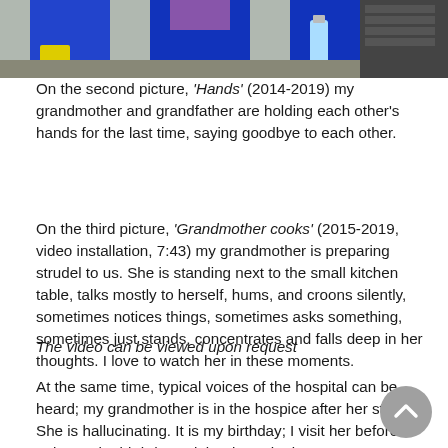[Figure (photo): Partial photograph showing people in blue clothing outdoors, bottles and containers visible in background]
On the second picture, 'Hands' (2014-2019) my grandmother and grandfather are holding each other's hands for the last time, saying goodbye to each other.
On the third picture, 'Grandmother cooks' (2015-2019, video installation, 7:43) my grandmother is preparing strudel to us. She is standing next to the small kitchen table, talks mostly to herself, hums, and croons silently, sometimes notices things, sometimes asks something, sometimes just stands, concentrates and falls deep in her thoughts. I love to watch her in these moments.
The video can be viewed upon request
At the same time, typical voices of the hospital can be heard; my grandmother is in the hospice after her stroke. She is hallucinating. It is my birthday; I visit her before going to the birthday celebration. She is